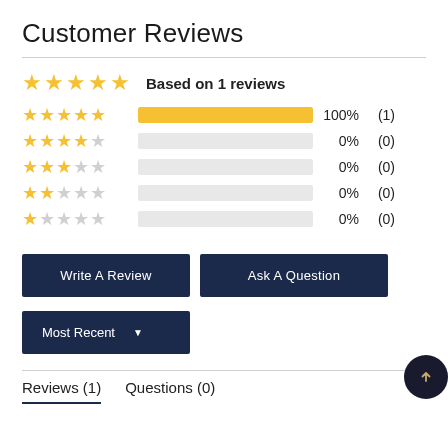Customer Reviews
[Figure (infographic): Star rating summary: 5 gold stars, Based on 1 reviews. Rating breakdown: 5 stars 100% (1), 4 stars 0% (0), 3 stars 0% (0), 2 stars 0% (0), 1 star 0% (0).]
Write A Review
Ask A Question
Most Recent
Reviews (1)   Questions (0)